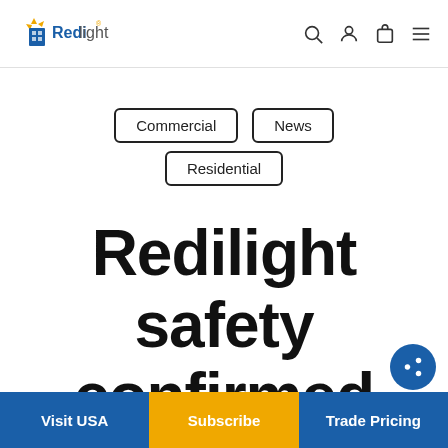Redilight — navigation header with logo, search, account, cart, and menu icons
Commercial
News
Residential
Redilight safety confirmed
Visit USA | Subscribe | Trade Pricing